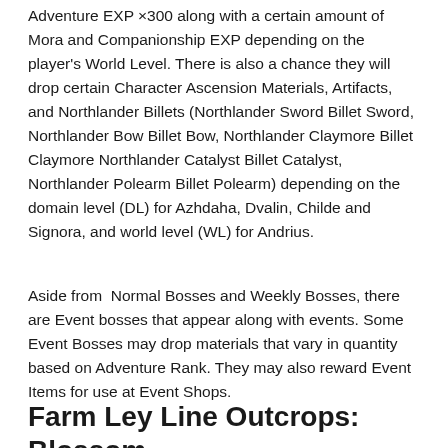Adventure EXP ×300 along with a certain amount of Mora and Companionship EXP depending on the player's World Level. There is also a chance they will drop certain Character Ascension Materials, Artifacts, and Northlander Billets (Northlander Sword Billet Sword, Northlander Bow Billet Bow, Northlander Claymore Billet Claymore Northlander Catalyst Billet Catalyst, Northlander Polearm Billet Polearm) depending on the domain level (DL) for Azhdaha, Dvalin, Childe and Signora, and world level (WL) for Andrius.
Aside from Normal Bosses and Weekly Bosses, there are Event bosses that appear along with events. Some Event Bosses may drop materials that vary in quantity based on Adventure Rank. They may also reward Event Items for use at Event Shops.
Farm Ley Line Outcrops: Blossom